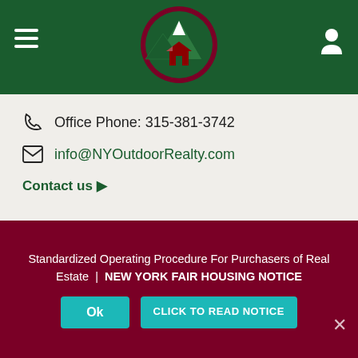[Figure (logo): NY Outdoor Realty circular logo with dark green background, white mountain peaks and red barn, dark maroon border ring]
Office Phone: 315-381-3742
info@NYOutdoorRealty.com
Contact us ▶
NY Outdoor Realty, LLC
PO Box 444,
Clinton, NY 13323
Standardized Operating Procedure For Purchasers of Real Estate  |  NEW YORK FAIR HOUSING NOTICE
Ok
CLICK TO READ NOTICE